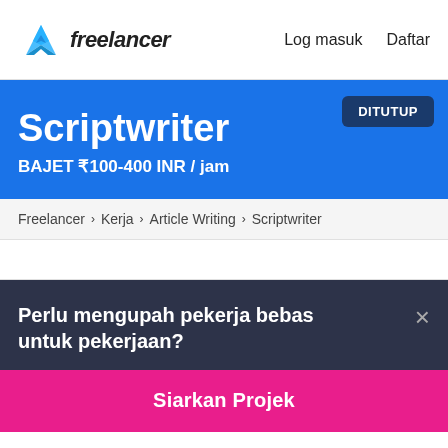freelancer  Log masuk  Daftar
Scriptwriter
BAJET ₹100-400 INR / jam
DITUTUP
Freelancer › Kerja › Article Writing › Scriptwriter
Perlu mengupah pekerja bebas untuk pekerjaan?
Siarkan Projek